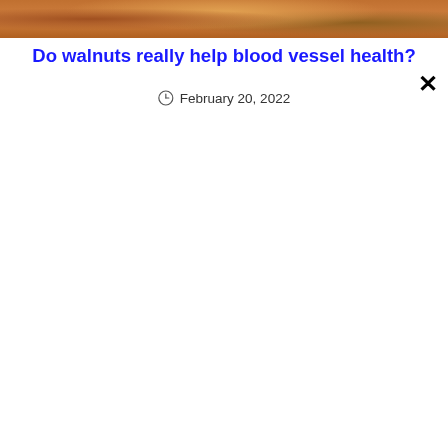[Figure (photo): Close-up photo of walnuts, showing brown textured walnut shells and pieces, cropped at the top of the page.]
Do walnuts really help blood vessel health?
February 20, 2022